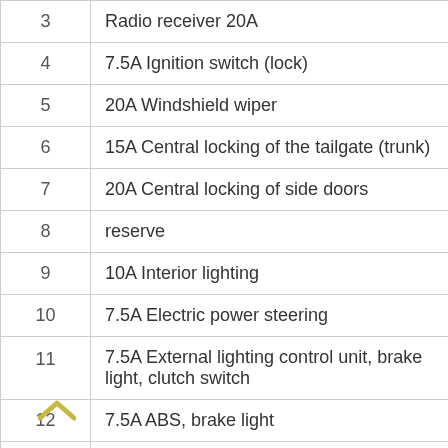| # | Description |
| --- | --- |
| 3 | Radio receiver 20A |
| 4 | 7.5A Ignition switch (lock) |
| 5 | 20A Windshield wiper |
| 6 | 15A Central locking of the tailgate (trunk) |
| 7 | 20A Central locking of side doors |
| 8 | reserve |
| 9 | 10A Interior lighting |
| 10 | 7.5A Electric power steering |
| 11 | 7.5A External lighting control unit, brake light, clutch switch |
| 12 | 7.5A ABS, brake light |
| 13 | 3A Heated steering wheel |